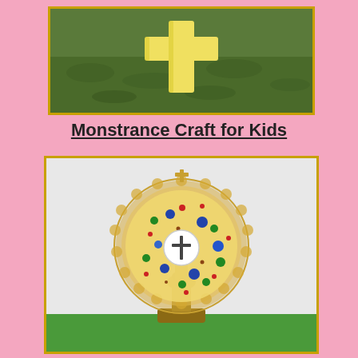[Figure (photo): Photo of a yellow foam cross craft lying on green grass outdoors]
Monstrance Craft for Kids
[Figure (photo): Photo of a handmade monstrance craft made from a gold doily, decorated with colorful gem stickers, a white circle with a cross in the center, a brown cardboard stem and base, set against a white/gray background with green paper at the bottom]